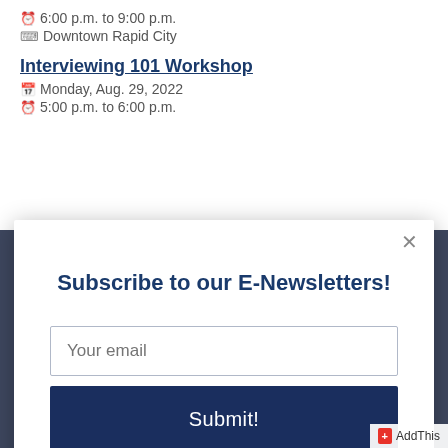6:00 p.m. to 9:00 p.m.
Downtown Rapid City
Interviewing 101 Workshop
Monday, Aug. 29, 2022
5:00 p.m. to 6:00 p.m.
Subscribe to our E-Newsletters!
Your email
Submit!
AddThis